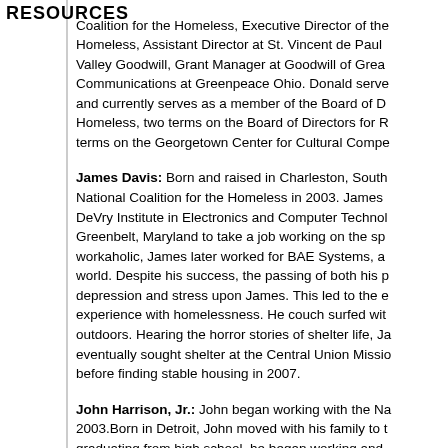RESOURCES
Coalition for the Homeless, Executive Director of the Homeless, Assistant Director at St. Vincent de Paul Valley Goodwill, Grant Manager at Goodwill of Grea Communications at Greenpeace Ohio. Donald serve and currently serves as a member of the Board of D Homeless, two terms on the Board of Directors for R terms on the Georgetown Center for Cultural Compe
James Davis: Born and raised in Charleston, South National Coalition for the Homeless in 2003. James DeVry Institute in Electronics and Computer Techno Greenbelt, Maryland to take a job working on the sp workaholic, James later worked for BAE Systems, a world. Despite his success, the passing of both his p depression and stress upon James. This led to the e experience with homelessness. He couch surfed wit outdoors. Hearing the horror stories of shelter life, Ja eventually sought shelter at the Central Union Missio before finding stable housing in 2007.
John Harrison, Jr.: John began working with the Na 2003.Born in Detroit, John moved with his family to t graduating from high school, he began working and